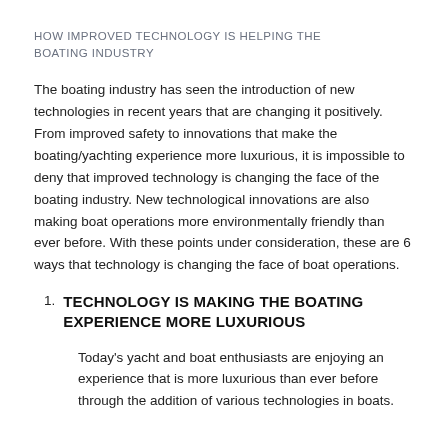HOW IMPROVED TECHNOLOGY IS HELPING THE BOATING INDUSTRY
The boating industry has seen the introduction of new technologies in recent years that are changing it positively. From improved safety to innovations that make the boating/yachting experience more luxurious, it is impossible to deny that improved technology is changing the face of the boating industry. New technological innovations are also making boat operations more environmentally friendly than ever before. With these points under consideration, these are 6 ways that technology is changing the face of boat operations.
1. TECHNOLOGY IS MAKING THE BOATING EXPERIENCE MORE LUXURIOUS
Today's yacht and boat enthusiasts are enjoying an experience that is more luxurious than ever before through the addition of various technologies in boats.